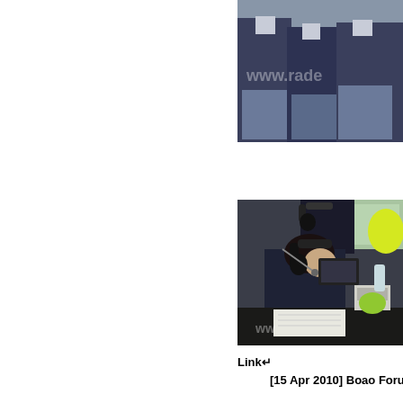[Figure (photo): Partial photo showing people seated in a row, wearing dark suits, hands folded, with a watermark 'www.rade...' visible in the upper right area. Only the right portion of the image is visible.]
[Figure (photo): Photo of interpreters or translators wearing headphones, seated at a desk with equipment including a microphone, laptop, water bottle, and papers. A watermark 'www...' is visible. The setting appears to be a simultaneous interpretation booth at a conference (Boao Forum).]
Link↵
[15 Apr 2010] Boao Forum